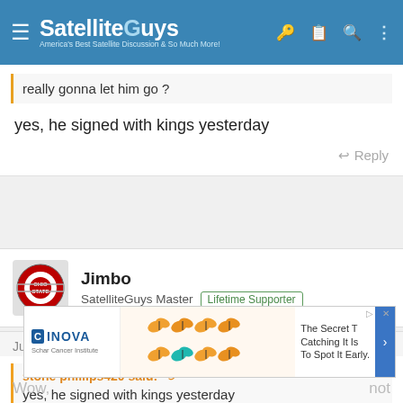SatelliteGuys — America's Best Satellite Discussion & So Much More!
really gonna let him go ?
yes, he signed with kings yesterday
Reply
Jimbo
SatelliteGuys Master   Lifetime Supporter
Jul 3, 2009   #73
stone phillips420 said:
yes, he signed with kings yesterday
Wow,   not
[Figure (infographic): INOVA Schar Cancer Institute advertisement with butterfly imagery and text 'The Secret To Catching It Is To Spot It Early.']